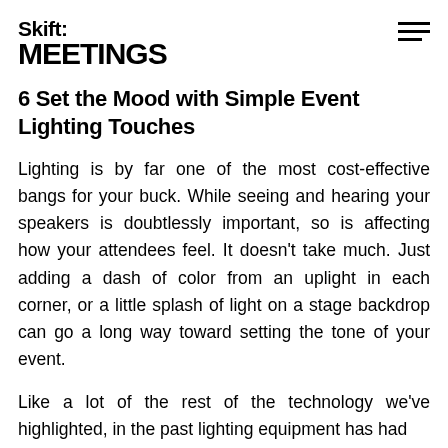Skift MEETINGS
6 Set the Mood with Simple Event Lighting Touches
Lighting is by far one of the most cost-effective bangs for your buck. While seeing and hearing your speakers is doubtlessly important, so is affecting how your attendees feel. It doesn't take much. Just adding a dash of color from an uplight in each corner, or a little splash of light on a stage backdrop can go a long way toward setting the tone of your event.
Like a lot of the rest of the technology we've highlighted, in the past lighting equipment has had